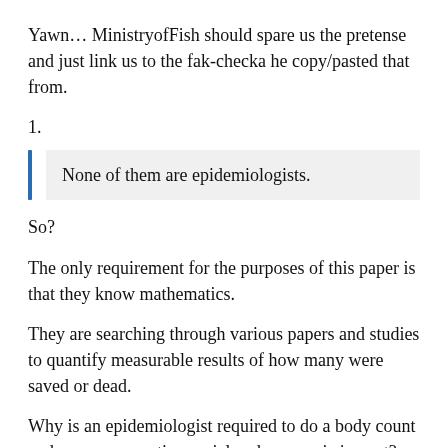Yawn… MinistryofFish should spare us the pretense and just link us to the fak-checka he copy/pasted that from.
1.
None of them are epidemiologists.
So?
The only requirement for the purposes of this paper is that they know mathematics.
They are searching through various papers and studies to quantify measurable results of how many were saved or dead.
Why is an epidemiologist required to do a body count and measure negative social and economic impact?
2. It's a working paper, not a peer-reviewed paper